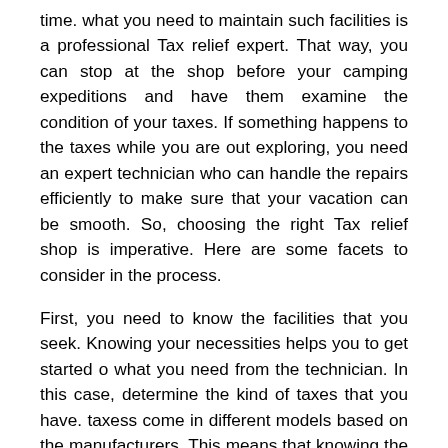time. what you need to maintain such facilities is a professional Tax relief expert. That way, you can stop at the shop before your camping expeditions and have them examine the condition of your taxes. If something happens to the taxes while you are out exploring, you need an expert technician who can handle the repairs efficiently to make sure that your vacation can be smooth. So, choosing the right Tax relief shop is imperative. Here are some facets to consider in the process.
First, you need to know the facilities that you seek. Knowing your necessities helps you to get started o what you need from the technician. In this case, determine the kind of taxes that you have. taxess come in different models based on the manufacturers. This means that knowing the type of taxes that you have will help you to choose experts who can deliver quality repair